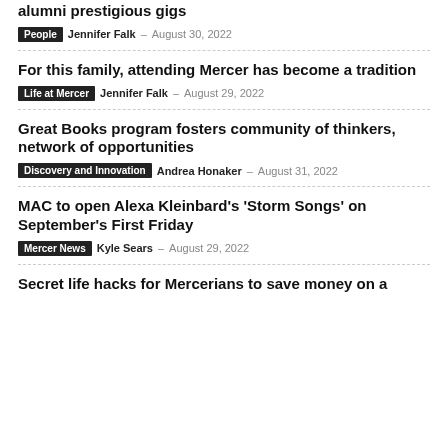alumni prestigious gigs
People · Jennifer Falk – August 30, 2022
For this family, attending Mercer has become a tradition
Life at Mercer · Jennifer Falk – August 29, 2022
Great Books program fosters community of thinkers, network of opportunities
Discovery and Innovation · Andrea Honaker – August 31, 2022
MAC to open Alexa Kleinbard's 'Storm Songs' on September's First Friday
Mercer News · Kyle Sears – August 29, 2022
Secret life hacks for Mercerians to save money on a